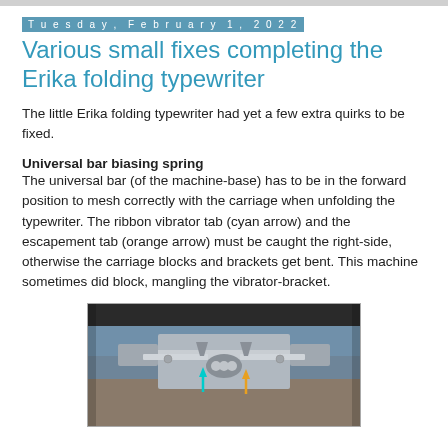Tuesday, February 1, 2022
Various small fixes completing the Erika folding typewriter
The little Erika folding typewriter had yet a few extra quirks to be fixed.
Universal bar biasing spring
The universal bar (of the machine-base) has to be in the forward position to mesh correctly with the carriage when unfolding the typewriter. The ribbon vibrator tab (cyan arrow) and the escapement tab (orange arrow) must be caught the right-side, otherwise the carriage blocks and brackets get bent. This machine sometimes did block, mangling the vibrator-bracket.
[Figure (photo): Close-up photo of the Erika folding typewriter's universal bar mechanism, showing metal brackets and tabs. A cyan arrow points downward at the ribbon vibrator tab, and an orange arrow points at the escapement tab.]